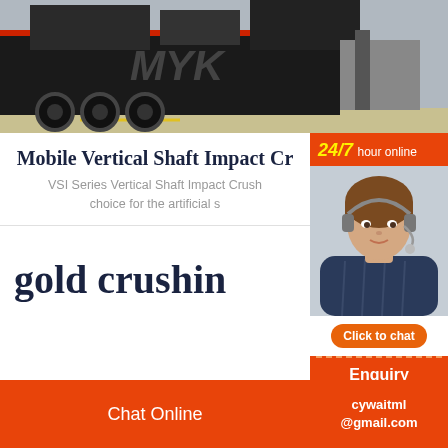[Figure (photo): Industrial mobile vertical shaft impact crusher on a flatbed truck trailer, photographed in a factory/warehouse setting with yellow floor markings and concrete floor.]
Mobile Vertical Shaft Impact Cr
VSI Series Vertical Shaft Impact Crush... choice for the artificial s...
[Figure (photo): Customer service agent (woman with headset) with 24/7 hour online label in orange banner at top, Click to chat button, and Enquiry button below.]
gold crushin
Chat Online   cywaitml @gmail.com